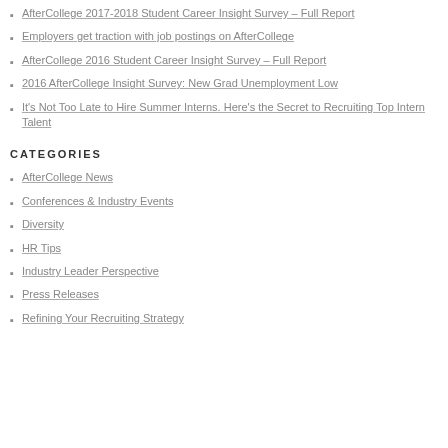AfterCollege 2017-2018 Student Career Insight Survey – Full Report
Employers get traction with job postings on AfterCollege
AfterCollege 2016 Student Career Insight Survey – Full Report
2016 AfterCollege Insight Survey: New Grad Unemployment Low
It's Not Too Late to Hire Summer Interns. Here's the Secret to Recruiting Top Intern Talent
CATEGORIES
AfterCollege News
Conferences & Industry Events
Diversity
HR Tips
Industry Leader Perspective
Press Releases
Refining Your Recruiting Strategy